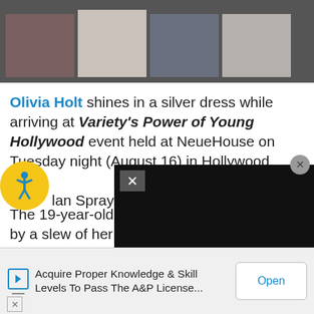[Figure (photo): A strip of four celebrity photo thumbnails on a dark gray background]
Olivia Holt shines in a silver dress while arriving at Variety's Power of Young Hollywood event held at NeueHouse on Tuesday night (August 16) in Hollywood.
The 19-year-old "Phoenix" singer was joined by a slew of her peers including G Hannelius, Brec Bassinger, Kira Kosarin and Jack Griffo.
...lan Sprayberry, Ellery Spray...
[Figure (screenshot): Video popup overlay on black background with close X button]
[Figure (infographic): Accessibility icon - yellow circle with person figure]
Acquire Proper Knowledge & Skill Levels To Pass The A&P License...